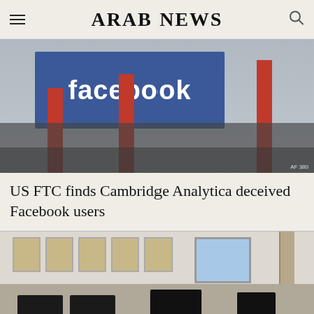ARAB NEWS
[Figure (photo): Facebook headquarters building exterior with blue Facebook sign and red pillars]
US FTC finds Cambridge Analytica deceived Facebook users
[Figure (photo): Office interior with computer monitors on desks and artwork on the walls]